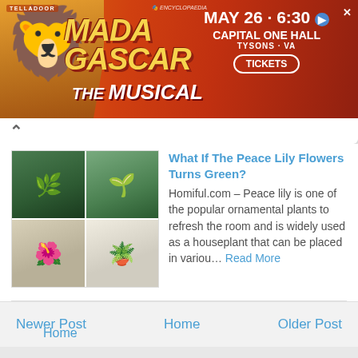[Figure (screenshot): Madagascar The Musical advertisement banner. Shows a lion character on the left with orange/red gradient background. Text reads: MAY 26 · 6:30, CAPITAL ONE HALL, TYSONS - VA, TICKETS]
What If The Peace Lily Flowers Turns Green?
Homiful.com –  Peace lily is one of the popular ornamental plants to refresh the room and is widely used as a houseplant that can be placed in variou… Read More
Newer Post   Home   Older Post
Home